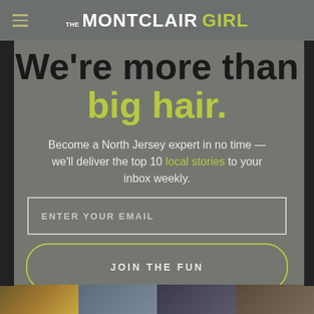THE MONTCLAIR GIRL
We're more than big hair.
Become a North Jersey expert in no time — we'll deliver the top 10 local stories to your inbox weekly.
ENTER YOUR EMAIL
JOIN THE FUN
[Figure (photo): Bottom strip showing partial images of decorative items]